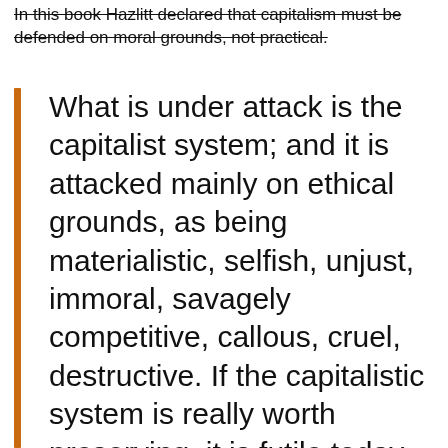In this book Hazlitt declared that capitalism must be defended on moral grounds, not practical.
What is under attack is the capitalist system; and it is attacked mainly on ethical grounds, as being materialistic, selfish, unjust, immoral, savagely competitive, callous, cruel, destructive. If the capitalistic system is really worth preserving, it is futile today to defend it merely on technical grounds (as being more productive, for example) unless we can show also that the socialist attacks on ethical grounds are false and baseless.